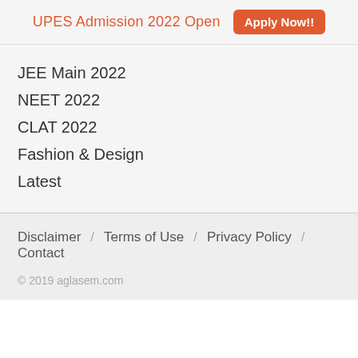UPES Admission 2022 Open  Apply Now!!
JEE Main 2022
NEET 2022
CLAT 2022
Fashion & Design
Latest
Disclaimer  /  Terms of Use  /  Privacy Policy  /  Contact
© 2019 aglasem.com